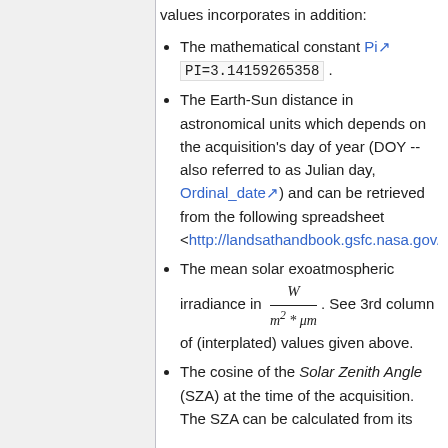values incorporates in addition:
The mathematical constant Pi PI=3.14159265358 .
The Earth-Sun distance in astronomical units which depends on the acquisition's day of year (DOY -- also referred to as Julian day, Ordinal_date) and can be retrieved from the following spreadsheet <http://landsathandbook.gsfc.nasa.gov/excel_docs/d.xls>.
The mean solar exoatmospheric irradiance in W / (m^2 * μm). See 3rd column of (interplated) values given above.
The cosine of the Solar Zenith Angle (SZA) at the time of the acquisition. The SZA can be calculated from its